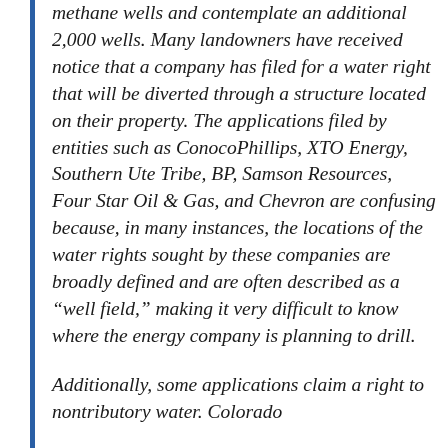methane wells and contemplate an additional 2,000 wells. Many landowners have received notice that a company has filed for a water right that will be diverted through a structure located on their property. The applications filed by entities such as ConocoPhillips, XTO Energy, Southern Ute Tribe, BP, Samson Resources, Four Star Oil & Gas, and Chevron are confusing because, in many instances, the locations of the water rights sought by these companies are broadly defined and are often described as a “well field,” making it very difficult to know where the energy company is planning to drill.
Additionally, some applications claim a right to nontributory water. Colorado